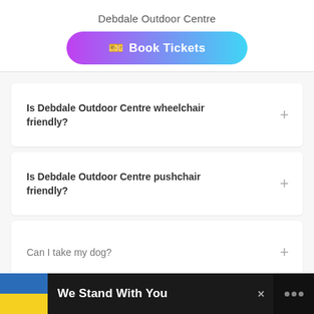Debdale Outdoor Centre
[Figure (other): Book Tickets button with gradient purple to cyan background and ticket icon]
Is Debdale Outdoor Centre wheelchair friendly?
Is Debdale Outdoor Centre pushchair friendly?
Can I take my dog?
[Figure (other): Advertisement banner: Ukraine flag, text 'We Stand With You', close button, and logo]